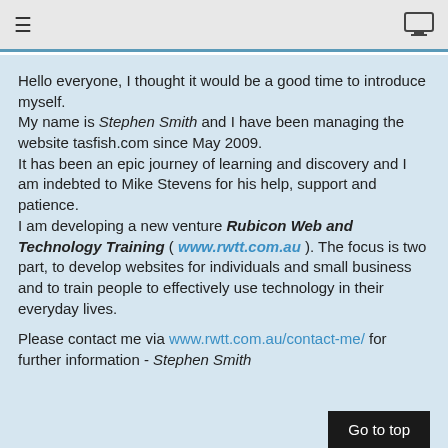≡  [monitor icon]
Hello everyone, I thought it would be a good time to introduce myself.
My name is Stephen Smith and I have been managing the website tasfish.com since May 2009.
It has been an epic journey of learning and discovery and I am indebted to Mike Stevens for his help, support and patience.
I am developing a new venture Rubicon Web and Technology Training ( www.rwtt.com.au ). The focus is two part, to develop websites for individuals and small business and to train people to effectively use technology in their everyday lives.
Please contact me via www.rwtt.com.au/contact-me/ for further information - Stephen Smith
Go to top